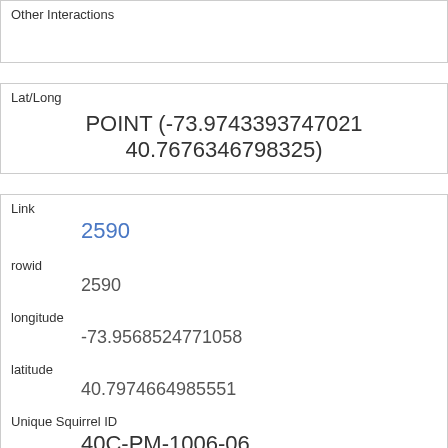Other Interactions
Lat/Long
POINT (-73.9743393747021 40.7676346798325)
Link
2590
rowid
2590
longitude
-73.9568524771058
latitude
40.7974664985551
Unique Squirrel ID
40C-PM-1006-06
Hectare
40C
Shift
PM
Date
10062018